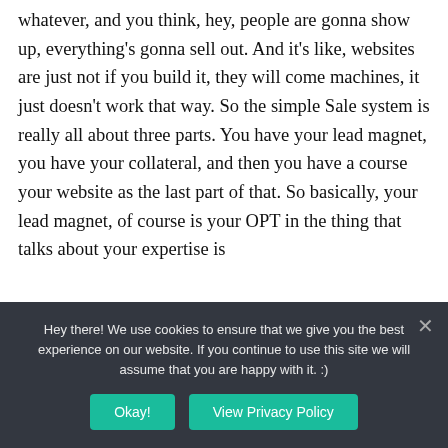whatever, and you think, hey, people are gonna show up, everything's gonna sell out. And it's like, websites are just not if you build it, they will come machines, it just doesn't work that way. So the simple Sale system is really all about three parts. You have your lead magnet, you have your collateral, and then you have a course your website as the last part of that. So basically, your lead magnet, of course is your OPT in the thing that talks about your expertise is
Hey there! We use cookies to ensure that we give you the best experience on our website. If you continue to use this site we will assume that you are happy with it. :)